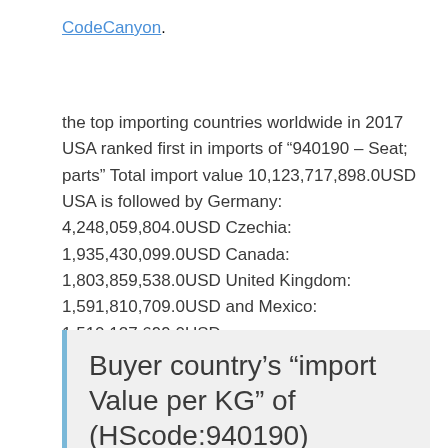CodeCanyon.
the top importing countries worldwide in 2017 USA ranked first in imports of “940190 – Seat; parts” Total import value 10,123,717,898.0USD USA is followed by Germany: 4,248,059,804.0USD Czechia: 1,935,430,099.0USD Canada: 1,803,859,538.0USD United Kingdom: 1,591,810,709.0USD and Mexico: 1,510,127,699.0USD
Buyer country’s “import Value per KG” of (HScode:940190)